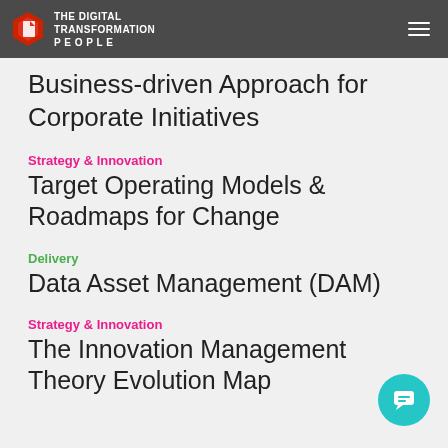THE DIGITAL TRANSFORMATION PEOPLE
Business-driven Approach for Corporate Initiatives
Strategy & Innovation
Target Operating Models & Roadmaps for Change
Delivery
Data Asset Management (DAM)
Strategy & Innovation
The Innovation Management Theory Evolution Map